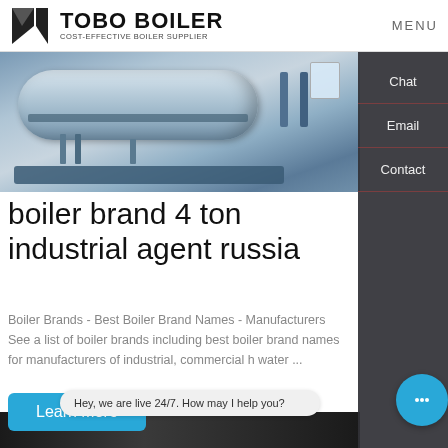TOBO BOILER — COST-EFFECTIVE BOILER SUPPLIER | MENU
[Figure (photo): Industrial boiler in a factory setting, showing a large horizontal cylindrical boiler on a steel frame with pipes]
boiler brand 4 ton industrial agent russia
Boiler Brands - Best Boiler Brand Names - Manufacturers See a list of boiler brands including best boiler brand names for manufacturers of industrial, commercial hot water ...
Learn More
Hey, we are live 24/7. How may I help you?
Chat
Email
Contact